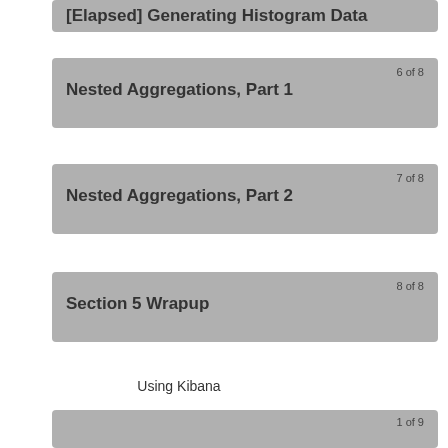[Elapsed] Generating Histogram Data
6 of 8
Nested Aggregations, Part 1
7 of 8
Nested Aggregations, Part 2
8 of 8
Section 5 Wrapup
Using Kibana
1 of 9